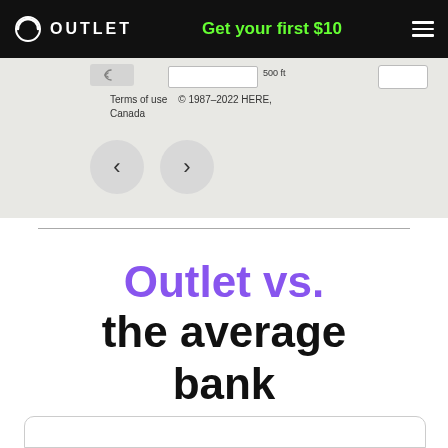OUTLET  Get your first $10
[Figure (screenshot): Partial map view with scale bar showing 500 ft, Terms of use and © 1987–2022 HERE, Canada copyright notice, and navigation arrow buttons]
Terms of use   © 1987–2022 HERE, Canada
Outlet vs. the average bank